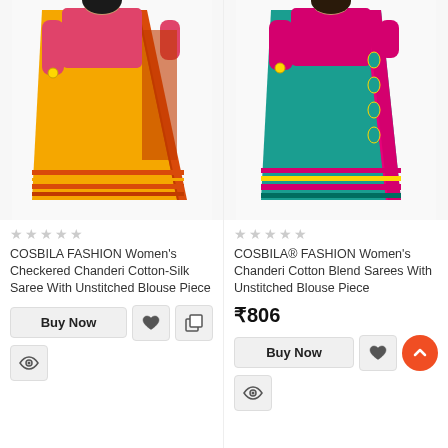[Figure (photo): Yellow and orange Chanderi Cotton-Silk Saree with pink blouse, draped on a model]
★★★★★ (empty stars)
COSBILA FASHION Women's Checkered Chanderi Cotton-Silk Saree With Unstitched Blouse Piece
[Figure (photo): Teal and pink Chanderi Cotton Blend Saree with magenta blouse, draped on a model]
★★★★★ (empty stars)
COSBILA® FASHION Women's Chanderi Cotton Blend Sarees With Unstitched Blouse Piece
₹806